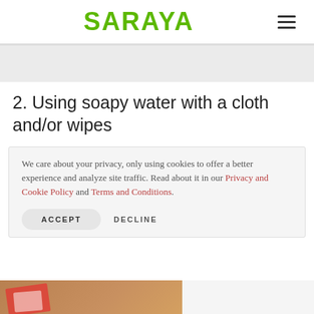SARAYA
2. Using soapy water with a cloth and/or wipes
We care about your privacy, only using cookies to offer a better experience and analyze site traffic. Read about it in our Privacy and Cookie Policy and Terms and Conditions.
ACCEPT   DECLINE
[Figure (photo): Bottom strip showing a partial image of products on a surface]